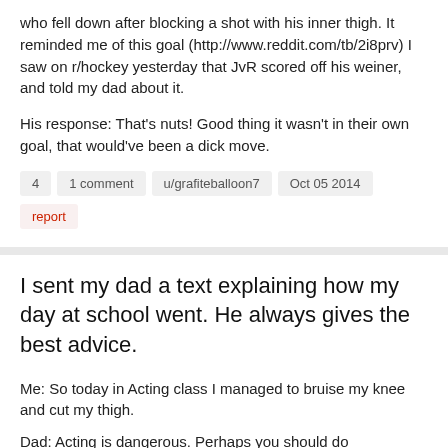who fell down after blocking a shot with his inner thigh. It reminded me of this goal (http://www.reddit.com/tb/2i8prv) I saw on r/hockey yesterday that JvR scored off his weiner, and told my dad about it.

His response: That's nuts! Good thing it wasn't in their own goal, that would've been a dick move.
4   1 comment   u/grafiteballoon7   Oct 05 2014
report
I sent my dad a text explaining how my day at school went. He always gives the best advice.
Me: So today in Acting class I managed to bruise my knee and cut my thigh.
Dad: Acting is dangerous. Perhaps you should do